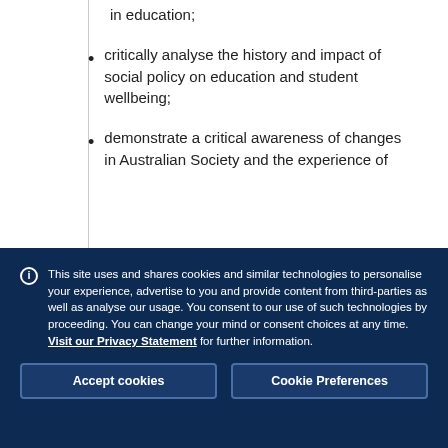in education;
critically analyse the history and impact of social policy on education and student wellbeing;
demonstrate a critical awareness of changes in Australian Society and the experience of childhood and adolescence which impact on
This site uses and shares cookies and similar technologies to personalise your experience, advertise to you and provide content from third-parties as well as analyse our usage. You consent to our use of such technologies by proceeding. You can change your mind or consent choices at any time. Visit our Privacy Statement for further information.
Accept cookies
Cookie Preferences